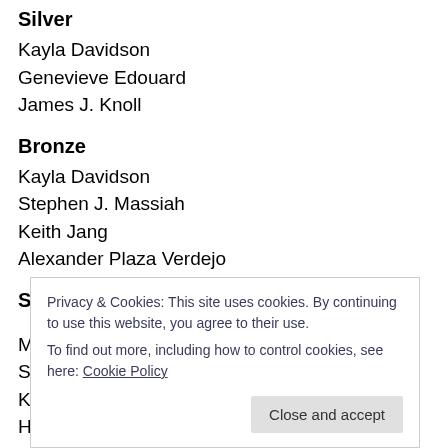Silver
Kayla Davidson
Genevieve Edouard
James J. Knoll
Bronze
Kayla Davidson
Stephen J. Massiah
Keith Jang
Alexander Plaza Verdejo
Star
Marlin Martin
S
K
H
M
J
Keith Jang
Privacy & Cookies: This site uses cookies. By continuing to use this website, you agree to their use. To find out more, including how to control cookies, see here: Cookie Policy